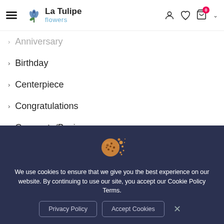La Tulipe flowers — navigation header with hamburger menu, logo, user icon, wishlist icon, cart icon with badge 0, chevron
> Anniversary
> Birthday
> Centerpiece
> Congratulations
> Corporate/Business
[Figure (illustration): Cookie illustration — a chocolate chip cookie crumbling/disintegrating into crumbs, used as cookie consent icon]
We use cookies to ensure that we give you the best experience on our website. By continuing to use our site, you accept our Cookie Policy Terms.
Privacy Policy | Accept Cookies | X (close)